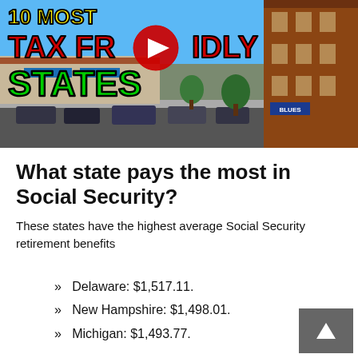[Figure (screenshot): YouTube video thumbnail showing '10 Most Tax Friendly States' with colorful text overlay (yellow, red, green) on a street scene background with a YouTube play button in the center]
What state pays the most in Social Security?
These states have the highest average Social Security retirement benefits
Delaware: $1,517.11.
New Hampshire: $1,498.01.
Michigan: $1,493.77.